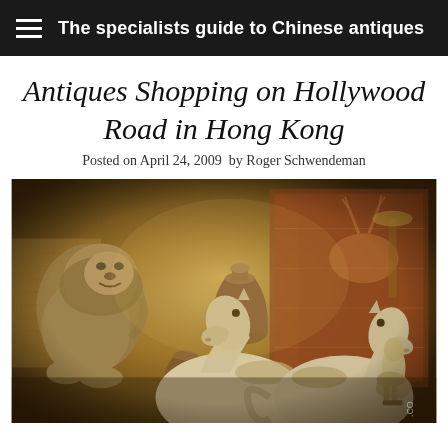The specialists guide to Chinese antiques
Antiques Shopping on Hollywood Road in Hong Kong
Posted on April 24, 2009  by Roger Schwendeman
[Figure (photo): Sepia-toned photograph of Chinese antique figurines in a shop on Hollywood Road, Hong Kong. Two white ceramic Tang-style horses are prominently displayed in the foreground, along with a stone guardian lion (foo dog) on the left, ceramic pots and vases in the middle, and additional figurines on the right. A decorative tapestry or painting is visible in the background.]